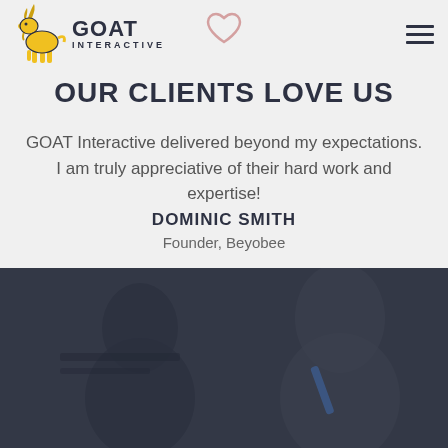[Figure (logo): GOAT Interactive logo with yellow goat graphic and dark text]
OUR CLIENTS LOVE US
GOAT Interactive delivered beyond my expectations. I am truly appreciative of their hard work and expertise!
DOMINIC SMITH
Founder, Beyobee
[Figure (photo): Dark photo of people working in an office environment]